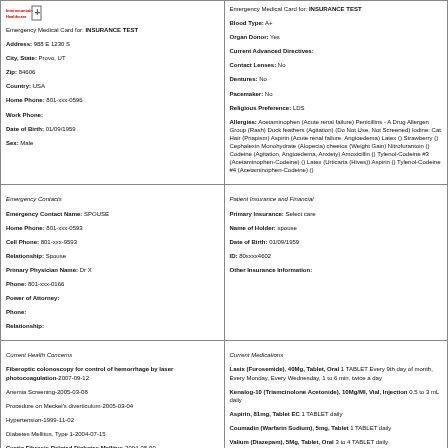[Figure (logo): Intermountain Healthcare logo with cross/plus symbol]
Emergency Medical Card for: INSURANCE TEST
Address: 988 E 1230 S
City, State: Provo, UT
Zip: 84606
Country: USA
Home Phone: 801-xxx-0596
Work Phone:
Date of Birth: 01/09/1959
Sex: Male
Emergency Medical Card for: INSURANCE TEST
Blood Type: A+
Organ Donor: Yes
Current Advanced Directives:
Contact Lenses: No
Dentures: No
Pacemaker: No
Religious Preference: LDS
Allergies: Acetaminophen (Acute renal failure) Penicillins - A Drug Allergen Group (Rash) Duck feathers (Agitation) (Do Not Use, Not Screened) Iodine: Cat Hair (Priapism) Aspirin (Acute renal failure, Angioedema) Latex () Strawberry () Cephalexin Monohydrate (Alopecia) cheetos (Weight Gain) Nitrofurantoin () Codeine (Agitation, Angioedema, Anxiety) Amoxicillin () Tylenol-Codeine #3 (Acetaminophen-Codeine) () Latex (Urticaria (Hives)) Aspirin () Tylenol-Codeine #4 (Acetaminophen-Codeine) ()
Emergency Contacts
Emergency Contact Name: SPOUSE
Home Phone: 801-xxx-0593
Cell Phone: 801-xxx-9593
Relationship: Spouse
Primary Physician Name: Dr X
Phone: 801-xxx-0166
Power of Attorney:
Phone:
Relationship:
Patient Insurance and Financial
Primary Insurance: Select care
Name of Holder: spouse
Date of Birth: 01/09/1959
ID: 80xxxx4602
Other Insurance Information:
Current Health Concerns
Fiberoptic colonoscopy for control of hemorrhage by laser photocoagulation-2007-09-12
Anemia Screening-2005-03-08
Procedure on Meckel's diverticulum-2005-03-04
Hypertension-1999-11-02
Diabetes Mellitus, Type 1-2004-07-15
Cystic Fibrosis Related Diabetes Mellitus-2004-08-09
Prepatellar Bursitis-2005-03-06
Tachycardia-2005-03-23
Current Medications
Lasix (Furosemide), 40Mg, Tablet, Oral 1 TABLET Every 9th day of month, Every Monday, Every Wednesday, 1 to 6 min, twice a day
Kenalog-10 (Triamcinolone Acetonide), 10Mg/Ml, Vial, Injection 0.5 to 3 mL daily
Aspirin, 81mg, Tablet EC 1 TABLET daily
Coumadin (Warfarin Sodium), 5mg, Tablet 1 TABLET daily
Valium (Diazepam), 5Mg, Tablet, Oral 3 to 4 TABLET daily
Valium (Diazepam), 5Mg, Tablet, Oral 1 to 2 TABLET
Lasix (Furosemide), 80Mg, Tablet, Oral 1 TABLET daily
Current Health Concerns - continued
Closed Fractures-2005-08-02
Fracture Of Lln-2005-08-02
Babesiosis-2005-08-02
Amek-2005-08-02
18P Partial Trisomy Syndrome-2005-08-31
18P Partial Trisomy Syndrome-2005-08-31
AV node arrhythmia-2005-08-31
Asthma-2005-12-01
Current Medications - continued
Bactrim Ds (Sulfamethoxazole/Trimethoprim), 800-160Mg, Tablet, Oral 2 TABLET twice a day
Phenobarbital, 15mg, Tablet, Oral 1 TABLET twice a day
Doryx (Doxycycline Hyclate), 100mg, Capsule EC 1 CAPSULE (HARD, SOFT, ETC.) after meals